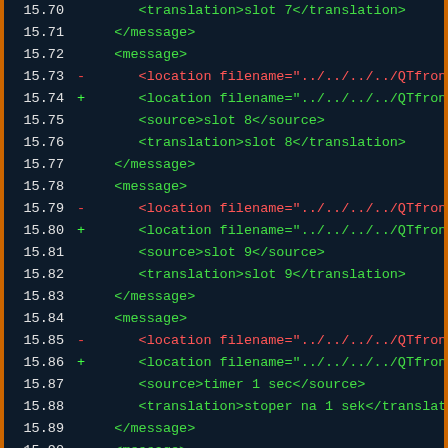[Figure (screenshot): Dark-themed code diff view showing XML translation file lines 15.70 through 15.98, with line numbers in white, minus lines in red, plus lines in green, and neutral XML content in green on a dark navy background with orange border.]